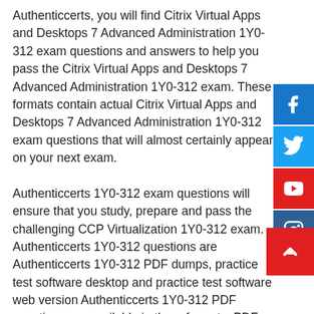Authenticcerts, you will find Citrix Virtual Apps and Desktops 7 Advanced Administration 1Y0-312 exam questions and answers to help you pass the Citrix Virtual Apps and Desktops 7 Advanced Administration 1Y0-312 exam. These formats contain actual Citrix Virtual Apps and Desktops 7 Advanced Administration 1Y0-312 exam questions that will almost certainly appear on your next exam.
Authenticcerts 1Y0-312 exam questions will ensure that you study, prepare and pass the challenging CCP Virtualization 1Y0-312 exam. Authenticcerts 1Y0-312 questions are Authenticcerts 1Y0-312 PDF dumps, practice test software desktop and practice test software web version Authenticcerts 1Y0-312 PDF questions are available in three formats: PDF for all modern operating systems in